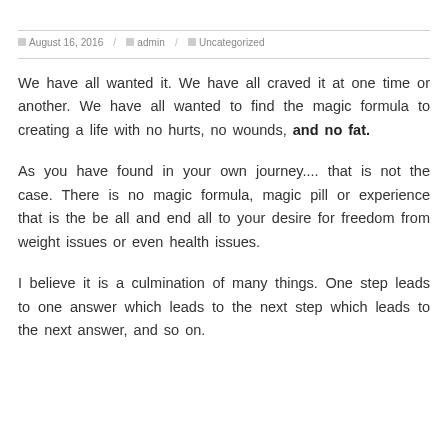August 16, 2016 / admin / Uncategorized
We have all wanted it. We have all craved it at one time or another. We have all wanted to find the magic formula to creating a life with no hurts, no wounds, and no fat.
As you have found in your own journey.... that is not the case. There is no magic formula, magic pill or experience that is the be all and end all to your desire for freedom from weight issues or even health issues.
I believe it is a culmination of many things. One step leads to one answer which leads to the next step which leads to the next answer, and so on.